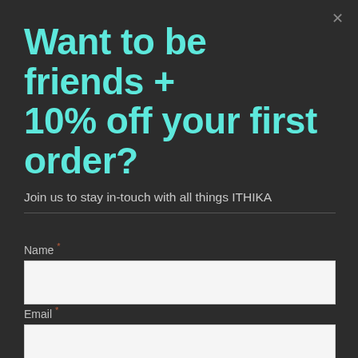Want to be friends + 10% off your first order?
Join us to stay in-touch with all things ITHIKA
Name *
Email *